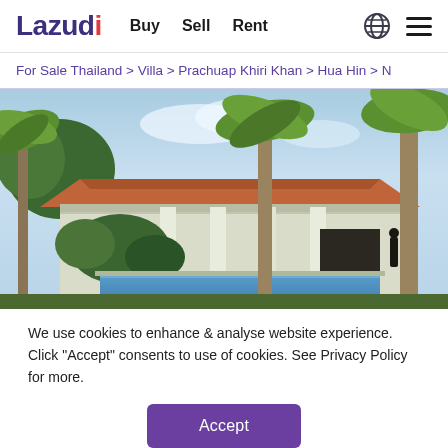Lazudi — Buy  Sell  Rent
For Sale Thailand > Villa > Prachuap Khiri Khan > Hua Hin > N
[Figure (photo): Exterior photo of a tropical villa with terracotta roof, white columns, palm trees, and a swimming pool in the foreground.]
We use cookies to enhance & analyse website experience. Click "Accept" consents to use of cookies. See Privacy Policy for more.
Accept